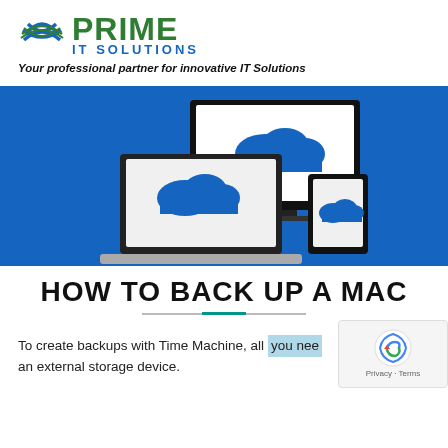[Figure (logo): Prime IT Solutions logo with globe icon, green PRIME text, blue IT SOLUTIONS text]
Your professional partner for innovative IT Solutions
[Figure (illustration): Blue background banner showing cloud sync icons on laptop, tablet, and monitor devices]
HOW TO BACK UP A MAC
To create backups with Time Machine, all you need an external storage device.